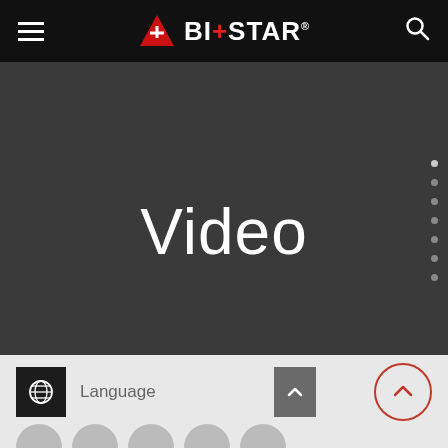[Figure (logo): BIOSTAR logo with red triangle/mountain icon and white BIOSTAR text with registered trademark symbol on black navigation bar]
Video
[Figure (screenshot): Language selector bar with globe icon, Language label, and up-arrow dropdown button. Red circle scroll-to-top button on the right. Bottom shows partial gray circles (social media icons).]